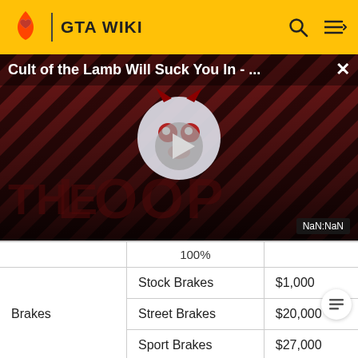GTA WIKI
[Figure (screenshot): Video thumbnail overlay showing 'Cult of the Lamb Will Suck You In - ...' with THE LOOP branding, a cartoon character, play button, and NaN:NaN timestamp badge]
|  | 100% |  |
| --- | --- | --- |
| Brakes | Stock Brakes | $1,000 |
|  | Street Brakes | $20,000 |
|  | Sport Brakes | $27,000 |